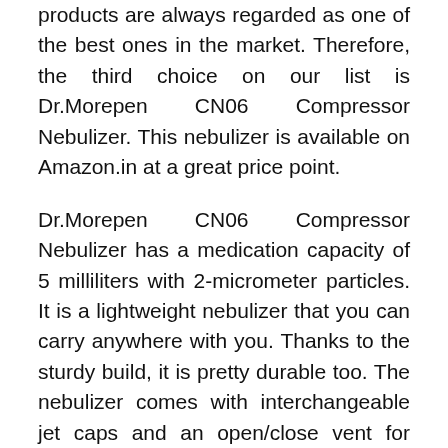products are always regarded as one of the best ones in the market. Therefore, the third choice on our list is Dr.Morepen CN06 Compressor Nebulizer. This nebulizer is available on Amazon.in at a great price point.
Dr.Morepen CN06 Compressor Nebulizer has a medication capacity of 5 milliliters with 2-micrometer particles. It is a lightweight nebulizer that you can carry anywhere with you. Thanks to the sturdy build, it is pretty durable too. The nebulizer comes with interchangeable jet caps and an open/close vent for user-selectable control of medication rate with shorter inhalation time. It has an average nebulizer rate of 0.2 milliliters/minute and features. All these features are also backed by a 1-year manufacturer